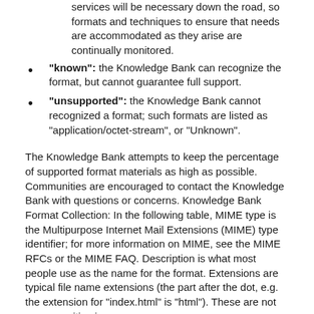"known": the Knowledge Bank can recognize the format, but cannot guarantee full support.
"unsupported": the Knowledge Bank cannot recognized a format; such formats are listed as "application/octet-stream", or "Unknown".
The Knowledge Bank attempts to keep the percentage of supported format materials as high as possible. Communities are encouraged to contact the Knowledge Bank with questions or concerns. Knowledge Bank Format Collection: In the following table, MIME type is the Multipurpose Internet Mail Extensions (MIME) type identifier; for more information on MIME, see the MIME RFCs or the MIME FAQ. Description is what most people use as the name for the format. Extensions are typical file name extensions (the part after the dot, e.g. the extension for "index.html" is "html"). These are not case-sensitive in